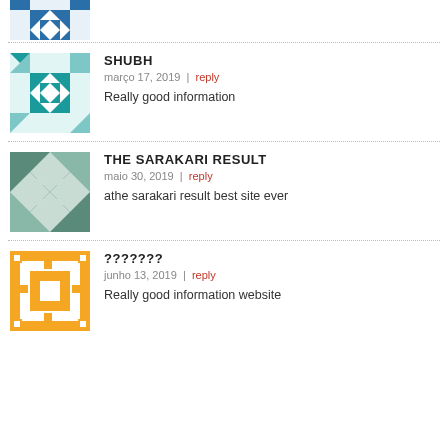[Figure (illustration): Gravatar avatar for first commenter (partial, blue geometric pattern), cropped at top]
SHUBH
março 17, 2019 | reply
Really good information
[Figure (illustration): Gravatar avatar teal/white geometric diamond pattern]
THE SARAKARI RESULT
maio 30, 2019 | reply
athe sarakari result best site ever
[Figure (illustration): Gravatar avatar teal/grey geometric star pattern]
???????
junho 13, 2019 | reply
Really good information website
[Figure (illustration): Gravatar avatar orange/white geometric pattern]